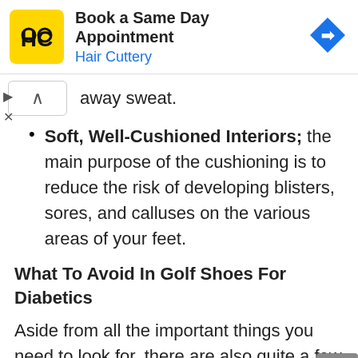[Figure (screenshot): Hair Cuttery advertisement banner with yellow logo, 'Book a Same Day Appointment' text, blue 'Hair Cuttery' subtitle, and a blue diamond navigation arrow on the right. Play and X controls on the left below the banner.]
away sweat.
Soft, Well-Cushioned Interiors; the main purpose of the cushioning is to reduce the risk of developing blisters, sores, and calluses on the various areas of your feet.
What To Avoid In Golf Shoes For Diabetics
Aside from all the important things you need to look for, there are also quite a few qualities that need to be avoided. These